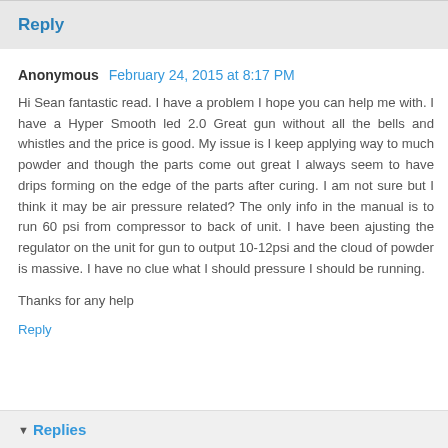Reply
Anonymous  February 24, 2015 at 8:17 PM
Hi Sean fantastic read. I have a problem I hope you can help me with. I have a Hyper Smooth led 2.0 Great gun without all the bells and whistles and the price is good. My issue is I keep applying way to much powder and though the parts come out great I always seem to have drips forming on the edge of the parts after curing. I am not sure but I think it may be air pressure related? The only info in the manual is to run 60 psi from compressor to back of unit. I have been ajusting the regulator on the unit for gun to output 10-12psi and the cloud of powder is massive. I have no clue what I should pressure I should be running.
Thanks for any help
Reply
Replies